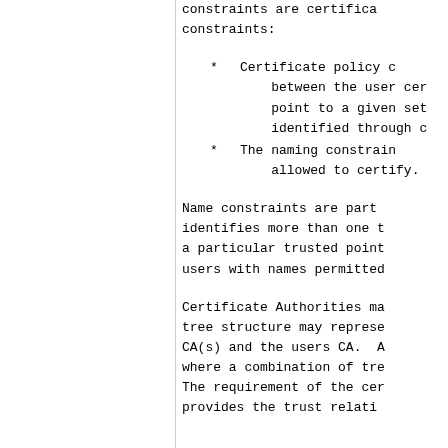constraints are certificate
constraints:
* Certificate policy c
between the user cer
point to a given set
identified through c
* The naming constrain
allowed to certify.
Name constraints are part
identifies more than one t
a particular trusted point
users with names permitted
Certificate Authorities ma
tree structure may represe
CA(s) and the users CA. A
where a combination of tre
The requirement of the cer
provides the trust relati